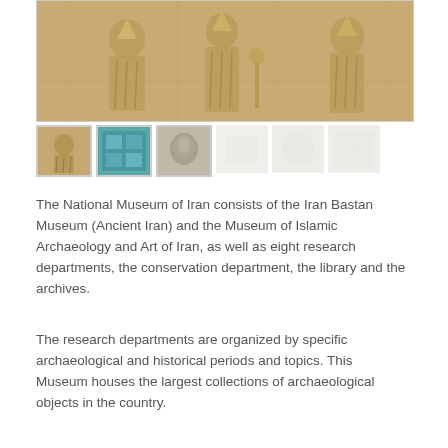[Figure (photo): Stone relief carving showing ancient Persian figures, from the National Museum of Iran (Iran Bastan Museum). The relief depicts rows of figures in profile, with detailed robes and headwear, carved in tan/golden stone.]
[Figure (photo): Row of thumbnail images: first shows a stone relief fragment (tan/golden), second shows a blue/teal glazed tile or object, third shows a small artifact or sculpture, followed by three faded/blurred thumbnail placeholders.]
The National Museum of Iran consists of the Iran Bastan Museum (Ancient Iran) and the Museum of Islamic Archaeology and Art of Iran, as well as eight research departments, the conservation department, the library and the archives.
The research departments are organized by specific archaeological and historical periods and topics. This Museum houses the largest collections of archaeological objects in the country.